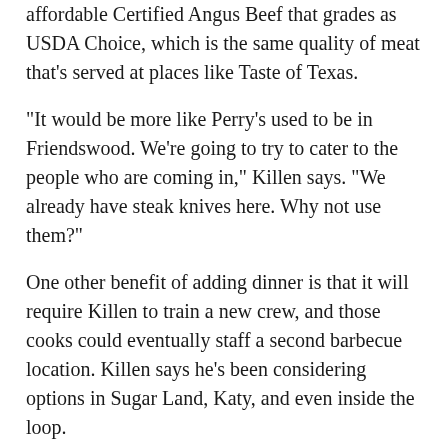affordable Certified Angus Beef that grades as USDA Choice, which is the same quality of meat that's served at places like Taste of Texas.
“It would be more like Perry’s used to be in Friendswood. We’re going to try to cater to the people who are coming in,” Killen says. “We already have steak knives here. Why not use them?”
One other benefit of adding dinner is that it will require Killen to train a new crew, and those cooks could eventually staff a second barbecue location. Killen says he’s been considering options in Sugar Land, Katy, and even inside the loop.
[Figure (photo): Advertisement image with text 'STAY & PLAY' over a warm-toned background with a person's legs visible]